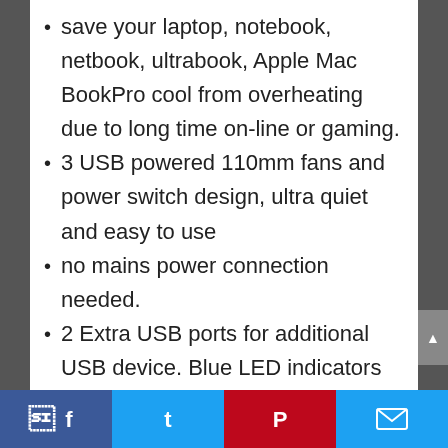save your laptop, notebook, netbook, ultrabook, Apple Mac BookPro cool from overheating due to long time on-line or gaming.
3 USB powered 110mm fans and power switch design, ultra quiet and easy to use
no mains power connection needed.
2 Extra USB ports for additional USB device. Blue LED indicators at the rear helps to confirm the laptop cooler is running.
Ergonomic Comfort – 2 adjustable